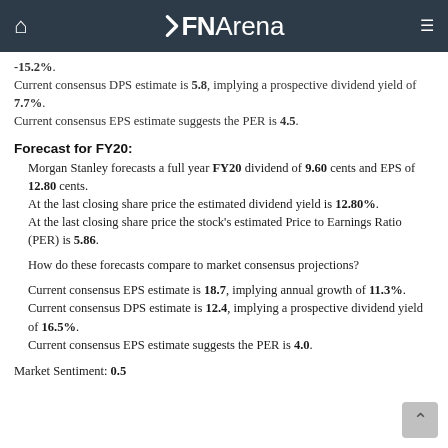FNArena
-15.2%. Current consensus DPS estimate is 5.8, implying a prospective dividend yield of 7.7%. Current consensus EPS estimate suggests the PER is 4.5.
Forecast for FY20:
Morgan Stanley forecasts a full year FY20 dividend of 9.60 cents and EPS of 12.80 cents. At the last closing share price the estimated dividend yield is 12.80%. At the last closing share price the stock's estimated Price to Earnings Ratio (PER) is 5.86.
How do these forecasts compare to market consensus projections?
Current consensus EPS estimate is 18.7, implying annual growth of 11.3%. Current consensus DPS estimate is 12.4, implying a prospective dividend yield of 16.5%. Current consensus EPS estimate suggests the PER is 4.0.
Market Sentiment: 0.5